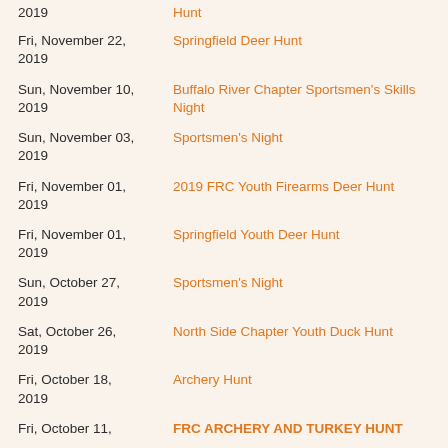Fri, November 22, 2019 | Springfield Deer Hunt
Sun, November 10, 2019 | Buffalo River Chapter Sportsmen's Skills Night
Sun, November 03, 2019 | Sportsmen's Night
Fri, November 01, 2019 | 2019 FRC Youth Firearms Deer Hunt
Fri, November 01, 2019 | Springfield Youth Deer Hunt
Sun, October 27, 2019 | Sportsmen's Night
Sat, October 26, 2019 | North Side Chapter Youth Duck Hunt
Fri, October 18, 2019 | Archery Hunt
Fri, October 11, | FRC ARCHERY AND TURKEY HUNT